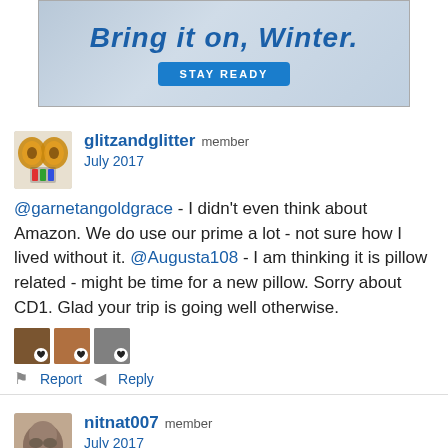[Figure (other): Advertisement banner: 'Bring it on, Winter.' with a 'STAY READY' button on a wintry background]
glitzandglitter member
July 2017
@garnetangoldgrace - I didn't even think about Amazon. We do use our prime a lot - not sure how I lived without it. @Augusta108 - I am thinking it is pillow related - might be time for a new pillow. Sorry about CD1. Glad your trip is going well otherwise.
Report   Reply
nitnat007 member
July 2017
@glitzandglitter It should just be until the end of the day. It went in for some recalled parts. Get a heating pad or